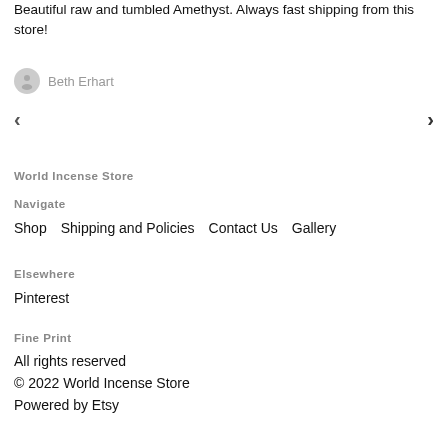Beautiful raw and tumbled Amethyst. Always fast shipping from this store!
Beth Erhart
World Incense Store
Navigate
Shop
Shipping and Policies
Contact Us
Gallery
Elsewhere
Pinterest
Fine Print
All rights reserved
© 2022 World Incense Store
Powered by Etsy